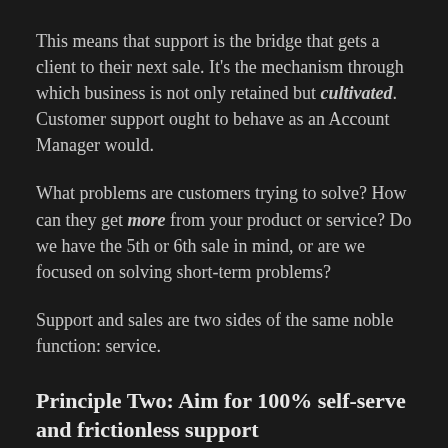This means that support is the bridge that gets a client to their next sale. It's the mechanism through which business is not only retained but cultivated. Customer support ought to behave as an Account Manager would.
What problems are customers trying to solve? How can they get more from your product or service? Do we have the 5th or 6th sale in mind, or are we focused on solving short-term problems?
Support and sales are two sides of the same noble function: service.
Principle Two: Aim for 100% self-serve and frictionless support